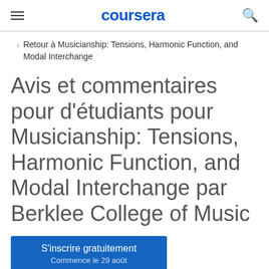coursera
Retour à Musicianship: Tensions, Harmonic Function, and Modal Interchange
Avis et commentaires pour d'étudiants pour Musicianship: Tensions, Harmonic Function, and Modal Interchange par Berklee College of Music
S'inscrire gratuitement
Commence le 29 août